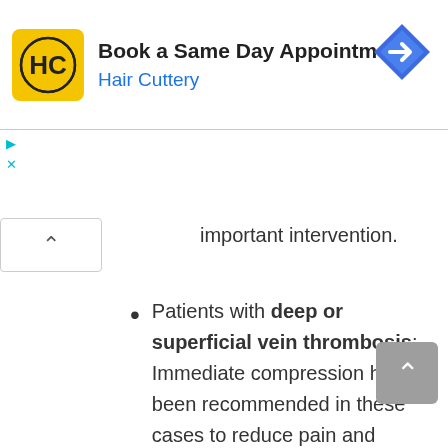[Figure (other): Hair Cuttery advertisement banner with logo, text 'Book a Same Day Appointment Hair Cuttery', and a blue navigation arrow icon]
important intervention.
Patients with deep or superficial vein thrombosis: Immediate compression has been recommended in these cases to reduce pain and swelling, thus allowing mobilization in acute thrombosis. In addition, its use as soon as possible helps prevent the development of post thrombotic syndrome